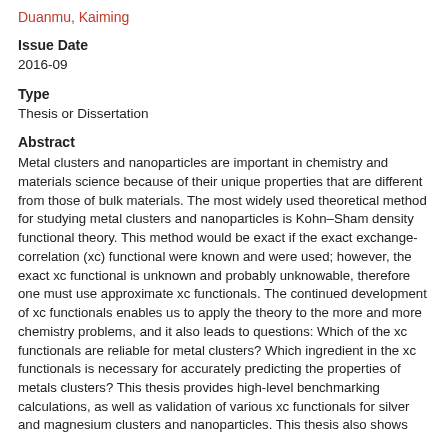Duanmu, Kaiming
Issue Date
2016-09
Type
Thesis or Dissertation
Abstract
Metal clusters and nanoparticles are important in chemistry and materials science because of their unique properties that are different from those of bulk materials. The most widely used theoretical method for studying metal clusters and nanoparticles is Kohn–Sham density functional theory. This method would be exact if the exact exchange-correlation (xc) functional were known and were used; however, the exact xc functional is unknown and probably unknowable, therefore one must use approximate xc functionals. The continued development of xc functionals enables us to apply the theory to the more and more chemistry problems, and it also leads to questions: Which of the xc functionals are reliable for metal clusters? Which ingredient in the xc functionals is necessary for accurately predicting the properties of metals clusters? This thesis provides high-level benchmarking calculations, as well as validation of various xc functionals for silver and magnesium clusters and nanoparticles. This thesis also shows